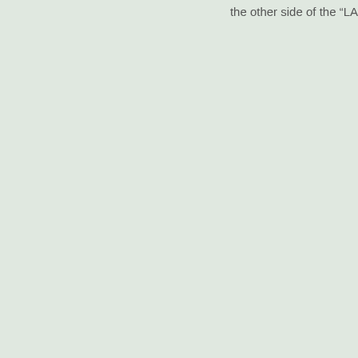the other side of the "LA
[Figure (photo): Black and white photograph showing a brick building with a domed or arched architectural feature, a large tree in the foreground, and a pale sky background. The image is partially cropped, showing only the right portion of the building.]